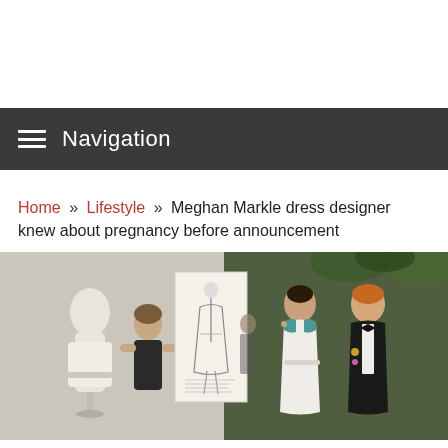Navigation
Home » Lifestyle » Meghan Markle dress designer knew about pregnancy before announcement
[Figure (photo): Composite photo: left side shows a dress designer standing next to a white dress on a mannequin with a fashion sketch in the center; right side shows Meghan Markle in a white sleeveless dress alongside Prince Harry in a black tuxedo with bow tie, outdoors with green foliage in the background.]